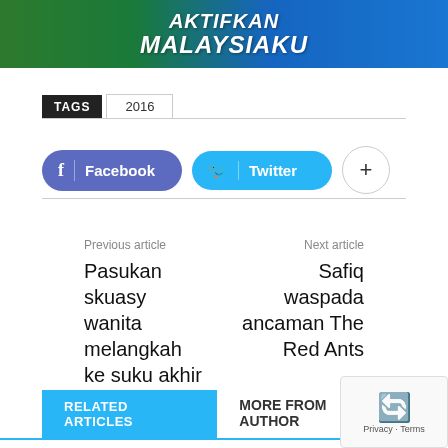[Figure (photo): Banner advertisement with green and blue background, text reading AKTIFKAN MALAYSIAKU in white bold italic letters, with cityscape silhouette on the left and water bottles on the right]
TAGS   2016
[Figure (screenshot): Facebook share button (purple/blue pill shape) and Twitter share button (cyan pill shape) and a plus button (circle outline)]
Previous article
Pasukan skuasy wanita melangkah ke suku akhir Kejohanan Asia
Next article
Safiq waspada ancaman The Red Ants
RELATED ARTICLES   MORE FROM AUTHOR